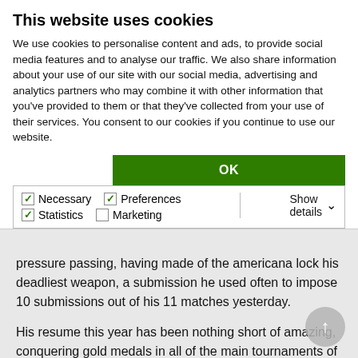This website uses cookies
We use cookies to personalise content and ads, to provide social media features and to analyse our traffic. We also share information about your use of our site with our social media, advertising and analytics partners who may combine it with other information that you've provided to them or that they've collected from your use of their services. You consent to our cookies if you continue to use our website.
OK
✓ Necessary   ✓ Preferences   ✓ Statistics   □ Marketing   Show details ∨
pressure passing, having made of the americana lock his deadliest weapon, a submission he used often to impose 10 submissions out of his 11 matches yesterday.
His resume this year has been nothing short of amazing, conquering gold medals in all of the main tournaments of jiu jitsu's international circuit. This includes:
World Champion 2016 weight + absolute
Abu Dhabi World Pro Champion 2016 weight + absolute